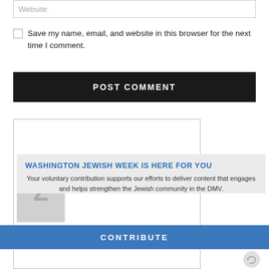Website:
Save my name, email, and website in this browser for the next time I comment.
POST COMMENT
[Figure (screenshot): Comment form input box area (bordered rectangle), partially visible]
WASHINGTON JEWISH WEEK IS HERE FOR YOU
Your voluntary contribution supports our efforts to deliver content that engages and helps strengthen the Jewish community in the DMV.
CONTRIBUTE
[Figure (screenshot): Bottom portion of comment form and reCAPTCHA icon, partially visible]